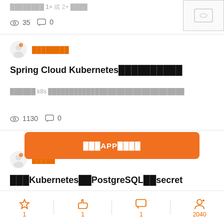35 views, 0 comments (top partial card)
[Figure (screenshot): Partial image thumbnail top right]
Author: 方志朋
Spring Cloud Kubernetes中文文档学习笔记
介绍如何使用 k8s 来替代传统的注册中心和配置中心以及一些其他的组件
1130 views, 0 comments
打开APP阅读全文
Author: 路人甲Java
部署Kubernetes使用PostgreSQL创建secret
Favorites: 1, Likes: 1, Comments: 1, Followers: 2040